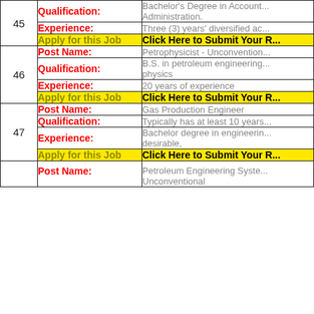| # | Field | Value |
| --- | --- | --- |
| 45 | Qualification: | Bachelor's Degree in Account... Administration. |
| 45 | Experience: | Three (3) years' diversified ac... |
| 45 | Apply for this Job | Click Here to Submit Your R... |
| 46 | Post Name: | Petrophysicist - Unconvention... |
| 46 | Qualification: | B.S. in petroleum engineering... physics |
| 46 | Experience: | 20 years of experience |
| 46 | Apply for this Job | Click Here to Submit Your R... |
| 47 | Post Name: | Gas Production Engineer |
| 47 | Qualification: | Typically has at least 10 years... |
| 47 | Experience: | Bachelor degree in engineerin... desirable, |
| 47 | Apply for this Job | Click Here to Submit Your R... |
| 48 | Post Name: | Petroleum Engineering Syste... Unconventional |